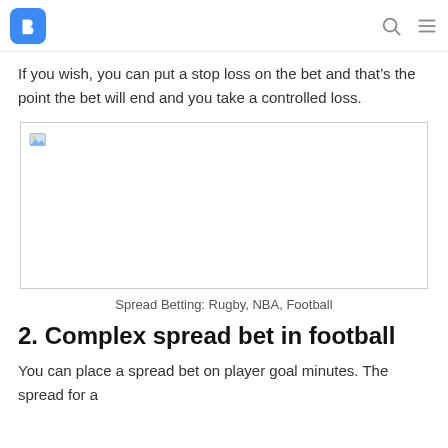B [logo] | Search | Menu
If you wish, you can put a stop loss on the bet and that’s the point the bet will end and you take a controlled loss.
[Figure (photo): Placeholder image (broken) representing Spread Betting: Rugby, NBA, Football]
Spread Betting: Rugby, NBA, Football
2. Complex spread bet in football
You can place a spread bet on player goal minutes. The spread for a